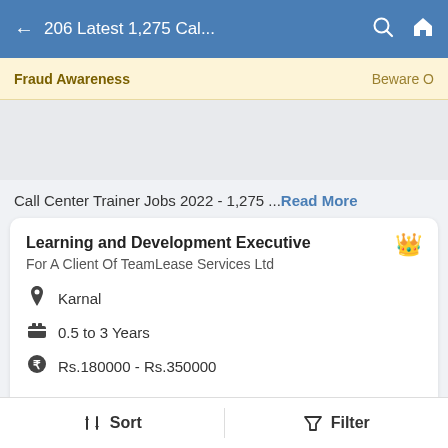206 Latest 1,275 Cal...
Fraud Awareness  Beware O
Call Center Trainer Jobs 2022 - 1,275 ... Read More
Learning and Development Executive
For A Client Of TeamLease Services Ltd
Karnal
0.5 to 3 Years
Rs.180000 - Rs.350000
20 days ago
Quick Apply
Sort  Filter